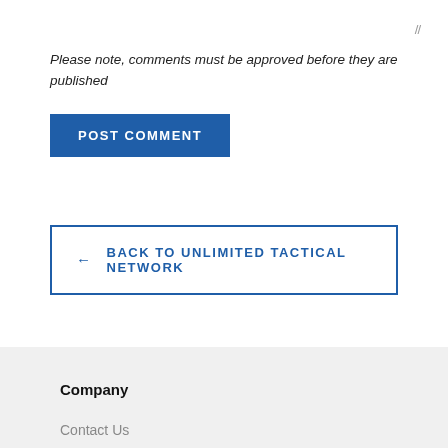Please note, comments must be approved before they are published
POST COMMENT
← BACK TO UNLIMITED TACTICAL NETWORK
Company
Contact Us